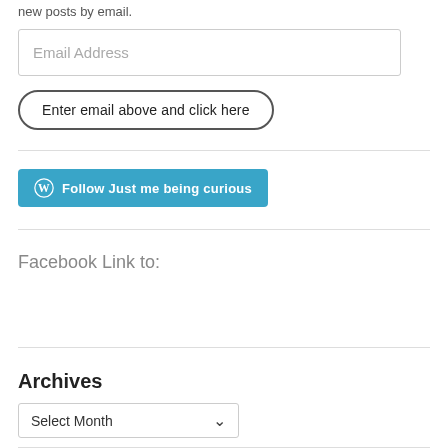new posts by email.
Email Address
Enter email above and click here
[Figure (other): WordPress Follow button: 'Follow Just me being curious' in teal/blue color with WordPress logo icon]
Facebook Link to:
Archives
Select Month